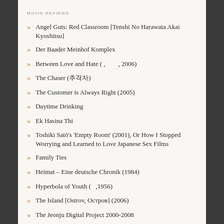MOVIE REVIEWS
Angel Guts: Red Classroom [Tenshi No Harawata Akai Kyoshitsu]
Der Baader Meinhof Komplex
Between Love and Hate ( ,         , 2006)
The Chaser (추격자)
The Customer is Always Right (2005)
Daytime Drinking
Ek Hasina Thi
Toshiki Satō's 'Empty Room' (2001), Or How I Stopped Worrying and Learned to Love Japanese Sex Films
Family Ties
Heimat – Eine deutsche Chronik (1984)
Hyperbola of Youth (   ,1956)
The Island [Ostrov, Остров] (2006)
The Jeonju Digital Project 2000-2008